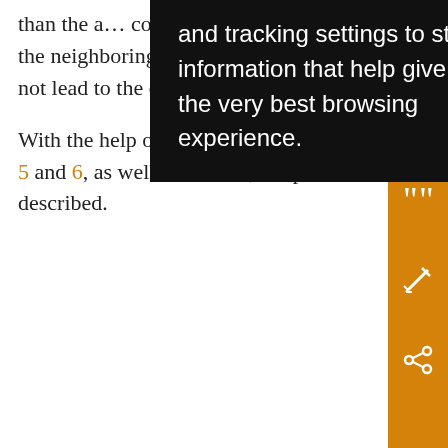than the a... considere... not only mini... partially, b... sign and comparable magnitude to the neighboring station(s). Although mathematically comprehensible, this procedure does not lead to the desired result.
With the help of an idealized example, supported by Fig. 5 and 6, as well as Table 1, the problem of so-called clustered stations and its solution are described.
[Figure (screenshot): Browser tooltip/cookie consent popup overlay with black background and white text reading: 'and tracking settings to store information that help give you the very best browsing experience.']
[Figure (illustration): Figure box at bottom of page, partially visible, with caption starting 'FIG.' and text 'Exa... an i... stat...']